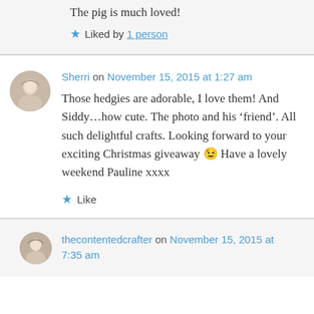The pig is much loved!
Liked by 1 person
Sherri on November 15, 2015 at 1:27 am
Those hedgies are adorable, I love them! And Siddy…how cute. The photo and his ‘friend’. All such delightful crafts. Looking forward to your exciting Christmas giveaway 😉 Have a lovely weekend Pauline xxxx
Like
thecontentedcrafter on November 15, 2015 at 7:35 am